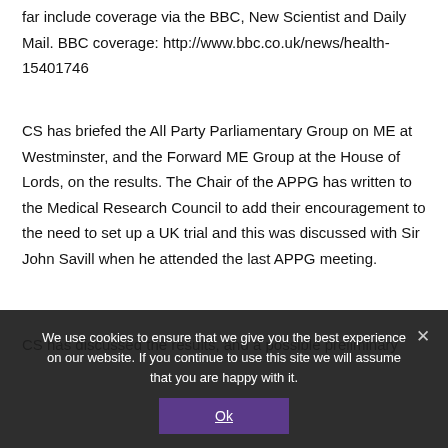far include coverage via the BBC, New Scientist and Daily Mail. BBC coverage: http://www.bbc.co.uk/news/health-15401746
CS has briefed the All Party Parliamentary Group on ME at Westminster, and the Forward ME Group at the House of Lords, on the results. The Chair of the APPG has written to the Medical Research Council to add their encouragement to the need to set up a UK trial and this was discussed with Sir John Savill when he attended the last APPG meeting.
CS has discussed the results, and a possible preliminary
We use cookies to ensure that we give you the best experience on our website. If you continue to use this site we will assume that you are happy with it.